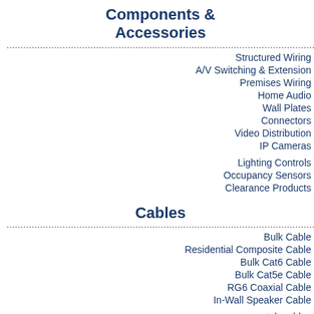Components & Accessories
Structured Wiring
A/V Switching & Extension
Premises Wiring
Home Audio
Wall Plates
Connectors
Video Distribution
IP Cameras
Lighting Controls
Occupancy Sensors
Clearance Products
Cables
Bulk Cable
Residential Composite Cable
Bulk Cat6 Cable
Bulk Cat5e Cable
RG6 Coaxial Cable
In-Wall Speaker Cable
patch cables
Audio Video Cables
Tools & Testers
Wiring your home or office? Need inpu
[Figure (screenshot): Social sharing icons: Twitter, Digg, Mail, Share, MySpace, LinkedIn]
Tweet
Shipping Calculator
Zip Code: [input] Country: U[input]
Commscope-2071  $729.50
Color: Yellow ▼  Quantity: 1  [cart button]